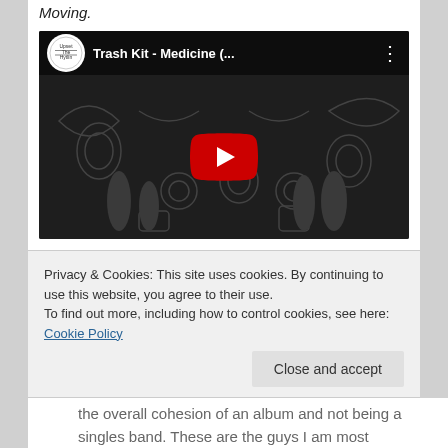Moving.
[Figure (screenshot): YouTube video thumbnail for 'Trash Kit - Medicine (...' showing a dark video frame with graffiti-like illustrations, a red YouTube play button in the center, and a channel logo circle in the top left.]
Hookworms – The Hum (Domino)
It was a huge leap for Hookworms to even try to top their debut album Pearl Mystic, but somehow they pulled it off,
Privacy & Cookies: This site uses cookies. By continuing to use this website, you agree to their use.
To find out more, including how to control cookies, see here: Cookie Policy
the overall cohesion of an album and not being a singles band. These are the guys I am most